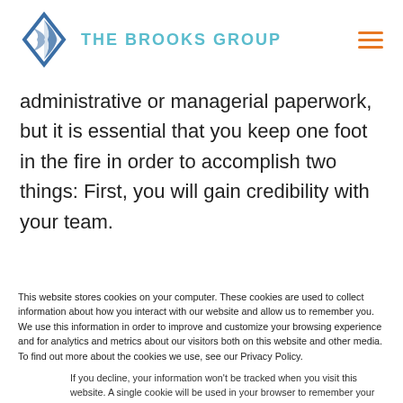THE BROOKS GROUP
administrative or managerial paperwork, but it is essential that you keep one foot in the fire in order to accomplish two things: First, you will gain credibility with your team.
Second, you will have a better idea about the
This website stores cookies on your computer. These cookies are used to collect information about how you interact with our website and allow us to remember you. We use this information in order to improve and customize your browsing experience and for analytics and metrics about our visitors both on this website and other media. To find out more about the cookies we use, see our Privacy Policy.
If you decline, your information won’t be tracked when you visit this website. A single cookie will be used in your browser to remember your preference not to be tracked.
Accept   Decline